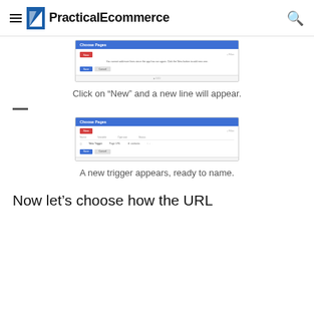PracticalEcommerce
[Figure (screenshot): Screenshot of 'Choose Pages' dialog with a red 'New' button highlighted and a message below it, with Save and Cancel buttons at the bottom.]
Click on “New” and a new line will appear.
[Figure (screenshot): Screenshot of 'Choose Pages' dialog showing a table with columns Name, Variable, Operator, Status, with a new trigger row filled in and Save/Cancel buttons.]
A new trigger appears, ready to name.
Now let’s choose how the URL